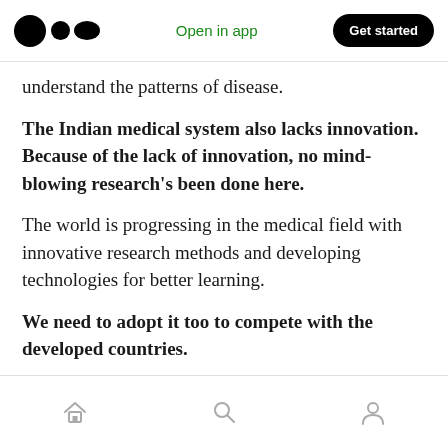Open in app | Get started
understand the patterns of disease.
The Indian medical system also lacks innovation. Because of the lack of innovation, no mind-blowing research's been done here.
The world is progressing in the medical field with innovative research methods and developing technologies for better learning.
We need to adopt it too to compete with the developed countries.
Home | Search | Profile